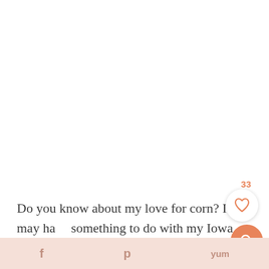Do you know about my love for corn?  It may have something to do with my Iowa roots, but give me corn and I'm happier than a pig in mud.  Too far?  Anyway...
[Figure (illustration): Heart/like button with count 33 above it, and an orange search button below]
f  p  yum